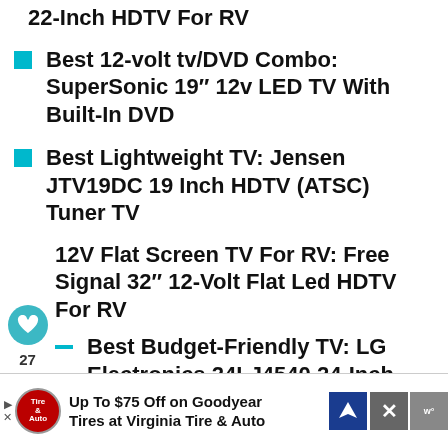22-Inch HDTV For RV
Best 12-volt tv/DVD Combo: SuperSonic 19″ 12v LED TV With Built-In DVD
Best Lightweight TV: Jensen JTV19DC 19 Inch HDTV (ATSC) Tuner TV
12V Flat Screen TV For RV: Free Signal 32″ 12-Volt Flat Led HDTV For RV
Best Budget-Friendly TV: LG Electronics 24LJ4540 24-Inch LED
WHAT'S NEXT → What Is The Best RV For...
Up To $75 Off on Goodyear Tires at Virginia Tire & Auto